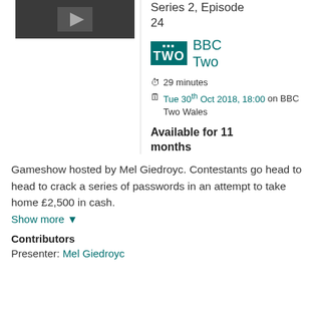[Figure (photo): Thumbnail image of the TV show, dark/grey background with people]
Series 2, Episode 24
[Figure (logo): BBC TWO teal logo]
BBC Two
29 minutes
Tue 30th Oct 2018, 18:00 on BBC Two Wales
Available for 11 months
Gameshow hosted by Mel Giedroyc. Contestants go head to head to crack a series of passwords in an attempt to take home £2,500 in cash.
Show more
Contributors
Presenter: Mel Giedroyc